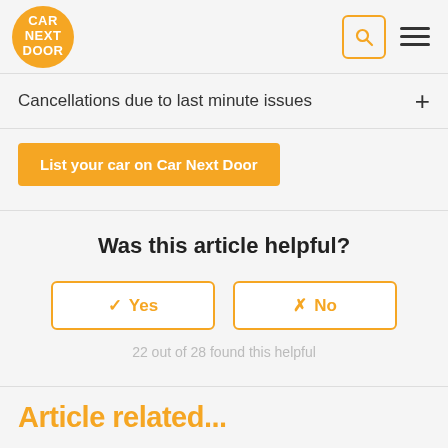CAR NEXT DOOR
Cancellations due to last minute issues +
List your car on Car Next Door
Was this article helpful?
✔ Yes   ✖ No
22 out of 28 found this helpful
Article related...